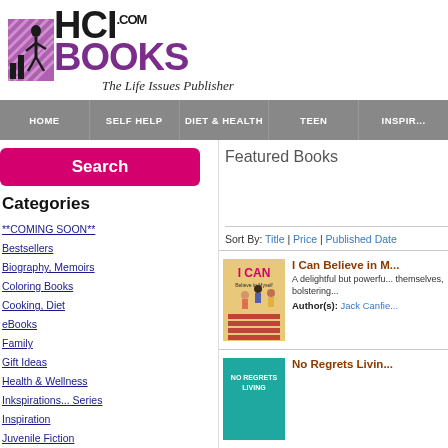[Figure (logo): HCI Books logo with purple figure icon, 'HCI.COM BOOKS' text in black and purple, tagline 'The Life Issues Publisher' in italic]
HOME | SELF HELP | DIET & HEALTH | TEEN | INSPIR...
Search
Categories
**COMING SOON**
Bestsellers
Biography, Memoirs
Coloring Books
Cooking, Diet
eBooks
Family
Gift Ideas
Health & Wellness
Inkspirations... Series
Inspiration
Juvenile Fiction
Libros en español
New Releases
OOLA
Personal Growth
Pets, Animals
Featured Books
Sort By: Title | Price | Published Date
[Figure (illustration): Book cover for 'I CAN Believe in Myself' showing children on stairs]
I Can Believe in M...
A delightful but powerful... themselves, bolstering...
Author(s): Jack Canfie...
[Figure (illustration): Book cover for 'No Regrets Living' in teal/turquoise color]
No Regrets Livin...